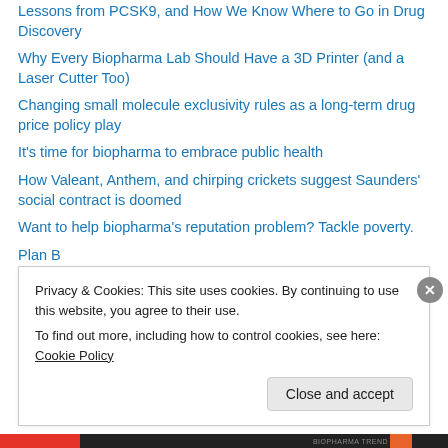Lessons from PCSK9, and How We Know Where to Go in Drug Discovery
Why Every Biopharma Lab Should Have a 3D Printer (and a Laser Cutter Too)
Changing small molecule exclusivity rules as a long-term drug price policy play
It’s time for biopharma to embrace public health
How Valeant, Anthem, and chirping crickets suggest Saunders’ social contract is doomed
Want to help biopharma’s reputation problem? Tackle poverty.
Plan B
How Brexit changed the way I look at biopharma’s reputation problem
How Distributed R&D Could Spark Entrepreneurship in Biopharma
Privacy & Cookies: This site uses cookies. By continuing to use this website, you agree to their use.
To find out more, including how to control cookies, see here: Cookie Policy
Close and accept